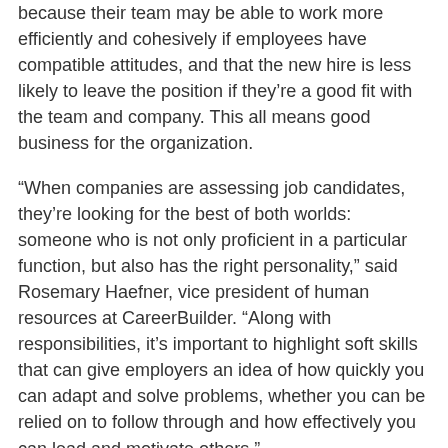because their team may be able to work more efficiently and cohesively if employees have compatible attitudes, and that the new hire is less likely to leave the position if they're a good fit with the team and company. This all means good business for the organization.
“When companies are assessing job candidates, they’re looking for the best of both worlds: someone who is not only proficient in a particular function, but also has the right personality,” said Rosemary Haefner, vice president of human resources at CareerBuilder. “Along with responsibilities, it’s important to highlight soft skills that can give employers an idea of how quickly you can adapt and solve problems, whether you can be relied on to follow through and how effectively you can lead and motivate others.”
The top ten most popular soft skills companies say they look for when hiring include: